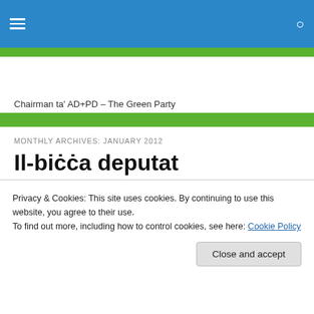Chairman ta' AD+PD – The Green Party
MONTHLY ARCHIVES: JANUARY 2012
Il-biċċa deputat
[Figure (photo): Partial photo of a person, cropped at top]
Privacy & Cookies: This site uses cookies. By continuing to use this website, you agree to their use.
To find out more, including how to control cookies, see here: Cookie Policy